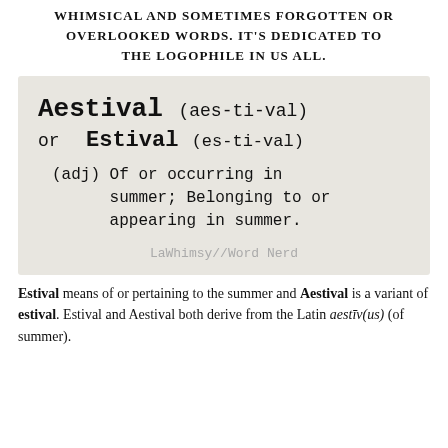WHIMSICAL AND SOMETIMES FORGOTTEN OR OVERLOOKED WORDS. IT'S DEDICATED TO THE LOGOPHILE IN US ALL.
[Figure (illustration): Dictionary-style card on textured grey background showing: 'Aestival (aes-ti-val) or Estival (es-ti-val)' in typewriter font, followed by '(adj) Of or occurring in summer; Belonging to or appearing in summer.' with watermark 'LaWhimsy//Word Nerd']
Estival means of or pertaining to the summer and Aestival is a variant of estival. Estival and Aestival both derive from the Latin aestīv(us) (of summer).